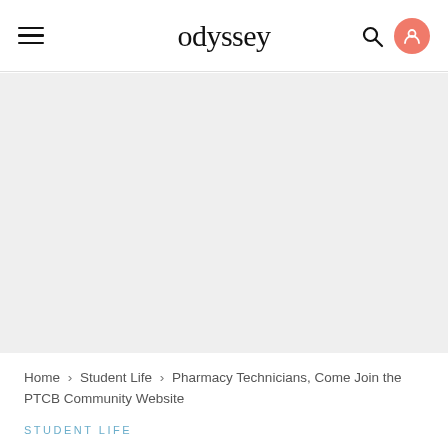odyssey
[Figure (other): Large light gray placeholder image area below the navigation header]
Home › Student Life › Pharmacy Technicians, Come Join the PTCB Community Website
STUDENT LIFE